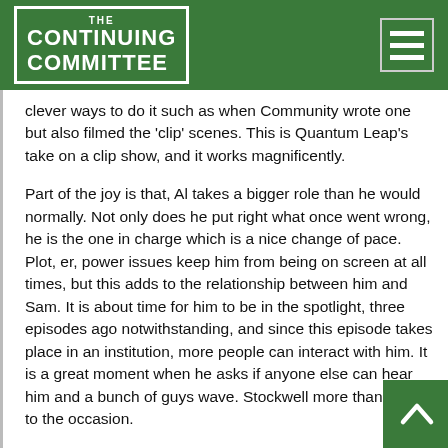THE CONTINUING COMMITTEE
clever ways to do it such as when Community wrote one but also filmed the 'clip' scenes. This is Quantum Leap's take on a clip show, and it works magnificently.
Part of the joy is that, Al takes a bigger role than he would normally. Not only does he put right what once went wrong, he is the one in charge which is a nice change of pace. Plot, er, power issues keep him from being on screen at all times, but this adds to the relationship between him and Sam. It is about time for him to be in the spotlight, three episodes ago notwithstanding, and since this episode takes place in an institution, more people can interact with him. It is a great moment when he asks if anyone else can hear him and a bunch of guys wave. Stockwell more than rises to the occasion.